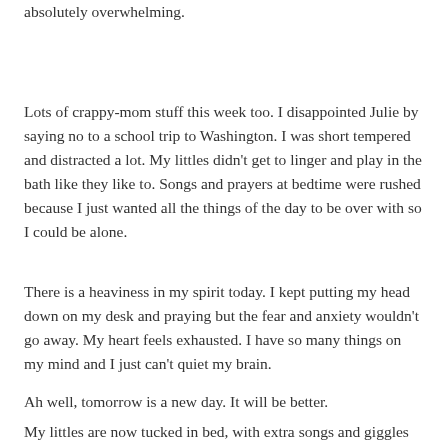absolutely overwhelming.
Lots of crappy-mom stuff this week too. I disappointed Julie by saying no to a school trip to Washington. I was short tempered and distracted a lot. My littles didn't get to linger and play in the bath like they like to. Songs and prayers at bedtime were rushed because I just wanted all the things of the day to be over with so I could be alone.
There is a heaviness in my spirit today. I kept putting my head down on my desk and praying but the fear and anxiety wouldn't go away. My heart feels exhausted. I have so many things on my mind and I just can't quiet my brain.
Ah well, tomorrow is a new day. It will be better.
My littles are now tucked in bed, with extra songs and giggles and hugs and kisses, trying to make up for this week